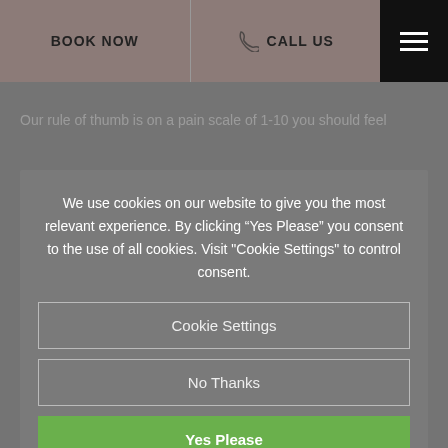BOOK NOW   CALL US
Our rule of thumb is on a pain scale of 1-10 you should feel
We use cookies on our website to give you the most relevant experience. By clicking “Yes Please” you consent to the use of all cookies. Visit "Cookie Settings" to control consent.
Cookie Settings
No Thanks
Yes Please
How to prevent laser hair removal hurting?
There are a few things you can do to prevent laser hair removal hurting. Preparing your treatment area properly is